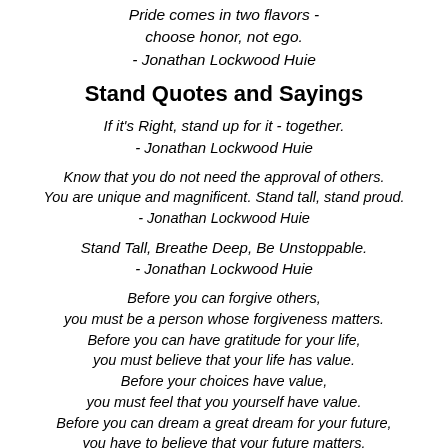Pride comes in two flavors - choose honor, not ego. - Jonathan Lockwood Huie
Stand Quotes and Sayings
If it's Right, stand up for it - together. - Jonathan Lockwood Huie
Know that you do not need the approval of others. You are unique and magnificent. Stand tall, stand proud. - Jonathan Lockwood Huie
Stand Tall, Breathe Deep, Be Unstoppable. - Jonathan Lockwood Huie
Before you can forgive others, you must be a person whose forgiveness matters. Before you can have gratitude for your life, you must believe that your life has value. Before your choices have value, you must feel that you yourself have value. Before you can dream a great dream for your future, you have to believe that your future matters. Before you can build positive habits of resolve and commitment,